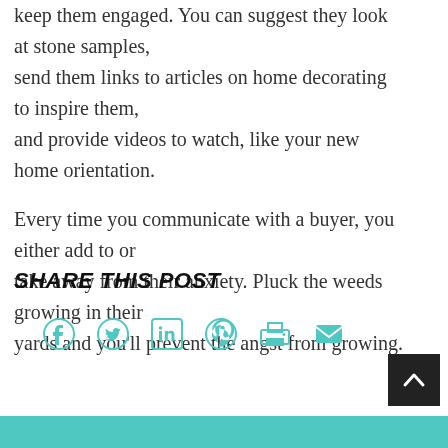keep them engaged. You can suggest they look at stone samples, send them links to articles on home decorating to inspire them, and provide videos to watch, like your new home orientation.

Every time you communicate with a buyer, you either add to or take away from their anxiety. Pluck the weeds growing in their yards and you'll prevent the angst from growing.
SHARE THIS POST
[Figure (infographic): Six social media sharing icons in teal: Facebook, Twitter, LinkedIn, Pinterest, Print, Email]
[Figure (other): Black square back-to-top button with white upward chevron arrow]